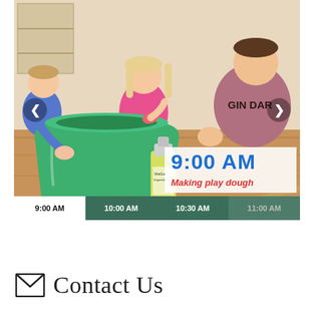[Figure (photo): Children making play dough around a large green bucket with a bottle of oil (VitaGold) on the floor. A time overlay shows 9:00 AM and 'Making play dough'. A timeline bar shows 9:00 AM, 10:00 AM, 10:30 AM, 11:00 AM at the bottom of the image.]
Contact Us